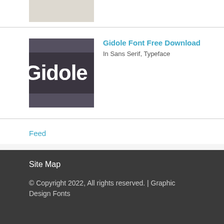[Figure (photo): Thumbnail image of a font preview, light gray/beige textured appearance, partially visible at top]
[Figure (screenshot): Dark charcoal background with horizontal stripes and white bold text reading 'Gidole' partially visible]
Gidole Font Free Download
In Sans Serif, Typeface
Feed
Site Map
© Copyright 2022, All rights reserved. | Graphic Design Fonts